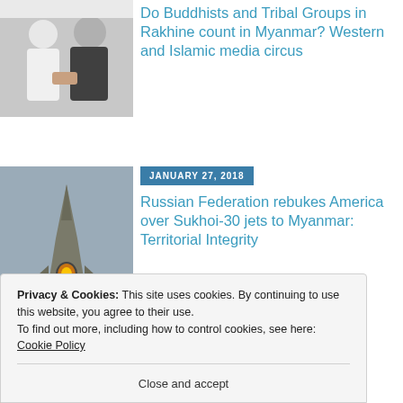[Figure (photo): Black and white photo of two people shaking hands, one in white clothing, one in dark Indian formal attire]
Do Buddhists and Tribal Groups in Rakhine count in Myanmar? Western and Islamic media circus
[Figure (photo): Military jet fighter (Sukhoi-30) flying head-on with landing gear deployed, gray sky background]
JANUARY 27, 2018
Russian Federation rebukes America over Sukhoi-30 jets to Myanmar: Territorial Integrity
Privacy & Cookies: This site uses cookies. By continuing to use this website, you agree to their use.
To find out more, including how to control cookies, see here: Cookie Policy
Close and accept